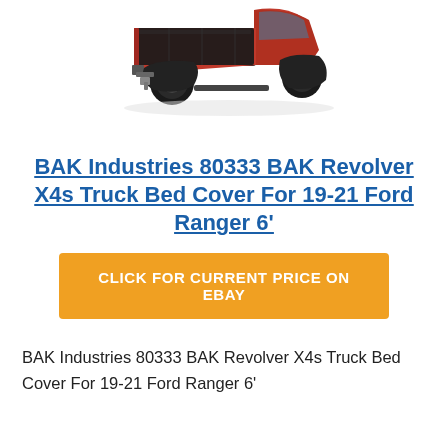[Figure (photo): Red Ford pickup truck with BAK Revolver X4s truck bed cover installed, viewed from rear three-quarter angle on white background]
BAK Industries 80333 BAK Revolver X4s Truck Bed Cover For 19-21 Ford Ranger 6'
CLICK FOR CURRENT PRICE ON EBAY
BAK Industries 80333 BAK Revolver X4s Truck Bed Cover For 19-21 Ford Ranger 6'